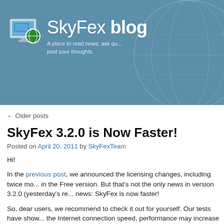[Figure (logo): SkyFex blog header with computer/globe icon logo, title 'SkyFex blog' and tagline 'A place to read news, ask qu... post your thoughts.' on a blue-grey background with globe watermark]
← Older posts
SkyFex 3.2.0 is Now Faster!
Posted on April 20, 2011 by SkyFexTeam
Hi!
In the previous post, we announced the licensing changes, including twice mo... in the Free version. But that's not the only news in version 3.2.0 (yesterday's re... news: SkyFex is now faster!
So, dear users, we recommend to check it out for yourself. Our tests have show... the Internet connection speed, performance may increase up to 3 times.
Be sure to post your impressions about the speed and the licensing changes. Y... the blog, or in the feedback/support forms.